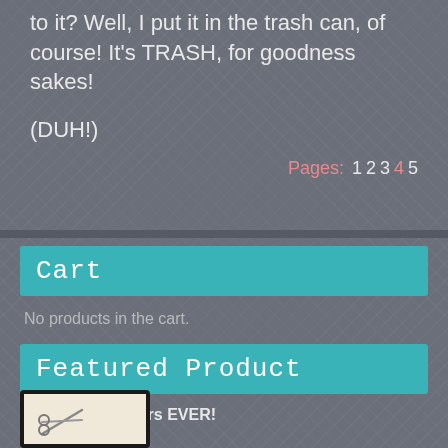to it? Well, I put it in the trash can, of course! It's TRASH, for goodness sakes!
(DUH!)
Pages: 1 2 3 4 5
Cart
No products in the cart.
Featured Product
The Best Scissors EVER!
[Figure (photo): Product image of scissors on a light beige background with dark border frame]